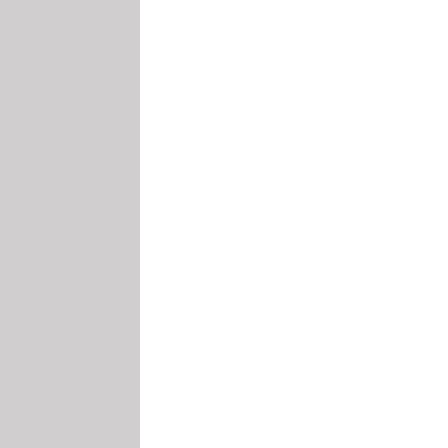May 2007
33. Historic Black College University initiatives
34. Women In Entrepreneurship Act
35. Created an office for illegal immigration crime victims
36. Reverse...